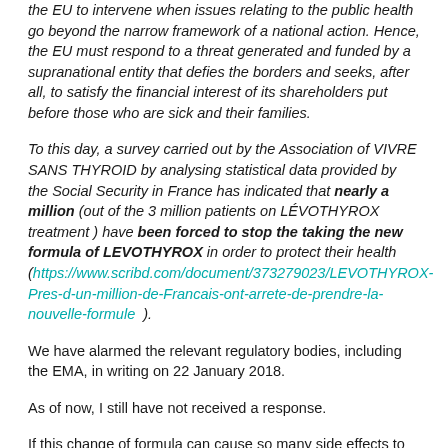the EU to intervene when issues relating to the public health go beyond the narrow framework of a national action. Hence, the EU must respond to a threat generated and funded by a supranational entity that defies the borders and seeks, after all, to satisfy the financial interest of its shareholders put before those who are sick and their families.
To this day, a survey carried out by the Association of VIVRE SANS THYROID by analysing statistical data provided by the Social Security in France has indicated that nearly a million (out of the 3 million patients on LÉVOTHYROX treatment ) have been forced to stop the taking the new formula of LEVOTHYROX in order to protect their health (https://www.scribd.com/document/373279023/LEVOTHYROX-Pres-d-un-million-de-Francais-ont-arrete-de-prendre-la-nouvelle-formule ).
We have alarmed the relevant regulatory bodies, including the EMA, in writing on 22 January 2018.
As of now, I still have not received a response.
If this change of formula can cause so many side effects to so